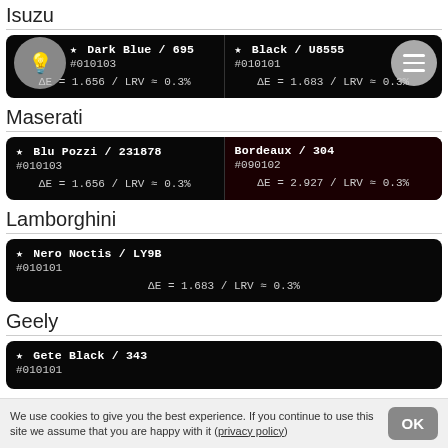Isuzu
| Color/Code | Color/Code |
| --- | --- |
| ★ Dark Blue / 695
#010103
ΔE = 1.656 / LRV ≈ 0.3% | ★ Black / U8555
#010101
ΔE = 1.683 / LRV ≈ 0.3% |
Maserati
| Color/Code | Color/Code |
| --- | --- |
| ★ Blu Pozzi / 231878
#010103
ΔE = 1.656 / LRV ≈ 0.3% | Bordeaux / 304
#090102
ΔE = 2.927 / LRV ≈ 0.3% |
Lamborghini
| Color/Code |
| --- |
| ★ Nero Noctis / LY9B
#010101
ΔE = 1.683 / LRV ≈ 0.3% |
Geely
| Color/Code |
| --- |
| ★ Gete Black / 343
#010101 |
We use cookies to give you the best experience. If you continue to use this site we assume that you are happy with it (privacy policy)